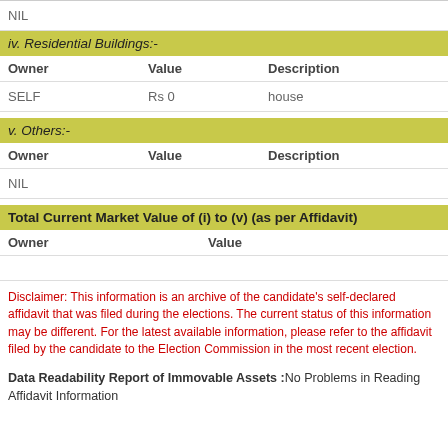NIL
| Owner | Value | Description |
| --- | --- | --- |
| SELF | Rs 0 | house |
| Owner | Value | Description |
| --- | --- | --- |
| NIL |  |  |
| Owner | Value |
| --- | --- |
Disclaimer: This information is an archive of the candidate's self-declared affidavit that was filed during the elections. The current status of this information may be different. For the latest available information, please refer to the affidavit filed by the candidate to the Election Commission in the most recent election.
Data Readability Report of Immovable Assets :No Problems in Reading Affidavit Information